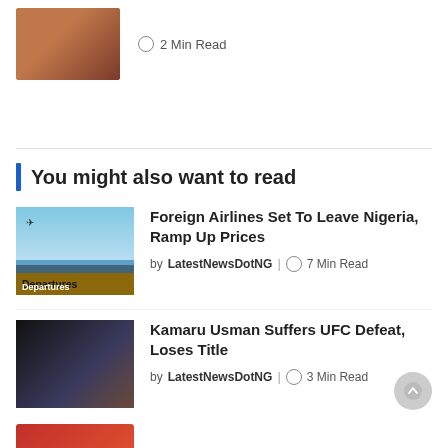[Figure (photo): Thumbnail photo of a person at top of page]
2 Min Read
You might also want to read
[Figure (photo): Departures sign at an airport with blue sky]
Foreign Airlines Set To Leave Nigeria, Ramp Up Prices
by LatestNewsDotNG | 7 Min Read
[Figure (photo): UFC fight scene with Kamaru Usman]
Kamaru Usman Suffers UFC Defeat, Loses Title
by LatestNewsDotNG | 3 Min Read
[Figure (photo): Partial thumbnail of third article at bottom]